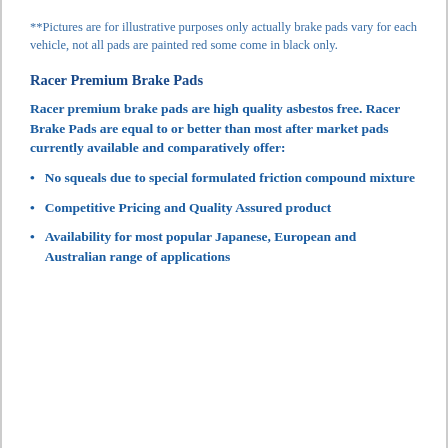**Pictures are for illustrative purposes only actually brake pads vary for each vehicle, not all pads are painted red some come in black only.
Racer Premium Brake Pads
Racer premium brake pads are high quality asbestos free. Racer Brake Pads are equal to or better than most after market pads currently available and comparatively offer:
No squeals due to special formulated friction compound mixture
Competitive Pricing and Quality Assured product
Availability for most popular Japanese, European and Australian range of applications